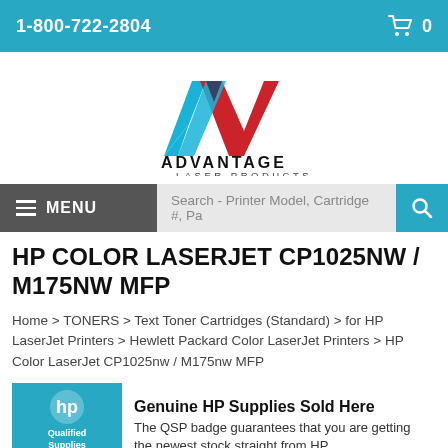1-800-722-2804
[Figure (logo): Advantage Laser Products logo — stylized A/V shape in blue and red above the text ADVANTAGE LASER PRODUCTS]
MENU  Search - Printer Model, Cartridge #, Pa
HP COLOR LASERJET CP1025NW / M175NW MFP
Home > TONERS > Text Toner Cartridges (Standard) > for HP LaserJet Printers > Hewlett Packard Color LaserJet Printers > HP Color LaserJet CP1025nw / M175nw MFP
[Figure (logo): HP Qualified Supplies Partner badge — circular HP logo with text Qualified Supplies Partner on blue background]
Genuine HP Supplies Sold Here
The QSP badge guarantees that you are getting the newest stock straight from HP.